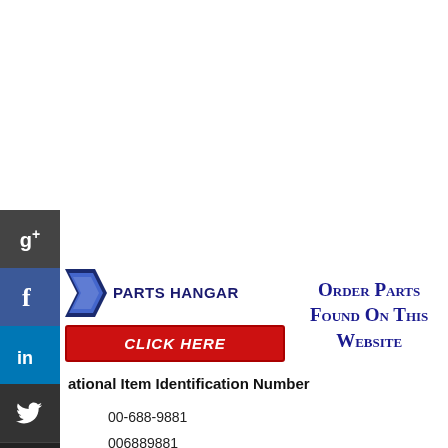[Figure (logo): Parts Hangar logo with arrow graphic and red CLICK HERE button, alongside text 'Order Parts Found On This Website' in dark blue small-caps]
National Item Identification Number
00-688-9881
006889881
5930-00-688-9881